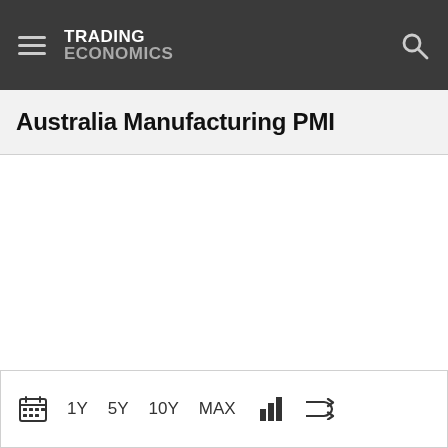TRADING ECONOMICS
Australia Manufacturing PMI
[Figure (other): Empty white chart area for Australia Manufacturing PMI — chart content not loaded]
1Y  5Y  10Y  MAX